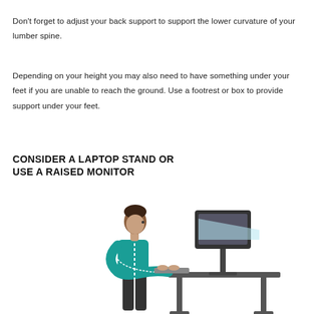Don't forget to adjust your back support to support the lower curvature of your lumber spine.
Depending on your height you may also need to have something under your feet if you are unable to reach the ground. Use a footrest or box to provide support under your feet.
CONSIDER A LAPTOP STAND OR USE A RAISED MONITOR
[Figure (illustration): Illustration of a person standing at a raised desk/standing desk, typing on a keyboard, with a monitor at eye level and a light beam shown from the monitor to the person's eyes. The person's spine is highlighted with a dashed white line showing posture alignment.]